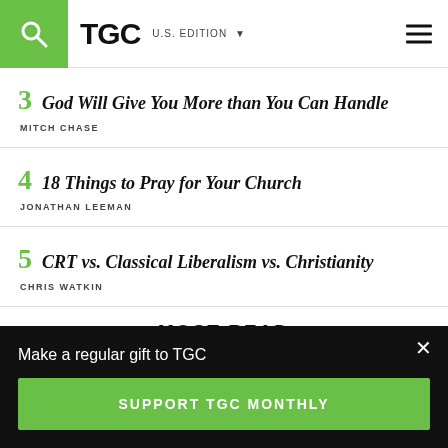TGC  U.S. EDITION
3  God Will Give You More than You Can Handle  MITCH CHASE
4  18 Things to Pray for Your Church  JONATHAN LEEMAN
5  CRT vs. Classical Liberalism vs. Christianity  CHRIS WATKIN
MOST READ
Make a regular gift to TGC
SUPPORT TGC MONTHLY